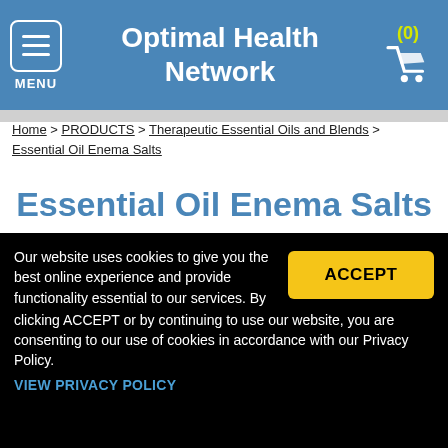Optimal Health Network
Home > PRODUCTS > Therapeutic Essential Oils and Blends > Essential Oil Enema Salts
Essential Oil Enema Salts
[Figure (photo): Product photo of Essential Oil Enema Salts, showing a close-up of a green product with metallic elements]
Our website uses cookies to give you the best online experience and provide functionality essential to our services. By clicking ACCEPT or by continuing to use our website, you are consenting to our use of cookies in accordance with our Privacy Policy.
VIEW PRIVACY POLICY